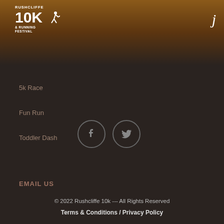[Figure (logo): Rushcliffe 10K & Running Festival logo with runner silhouette]
5k Race
Fun Run
Toddler Dash
EMAIL US
[Figure (illustration): Facebook and Twitter social media icon buttons in circle outlines]
© 2022 Rushcliffe 10k --- All Rights Reserved
Terms & Conditions / Privacy Policy